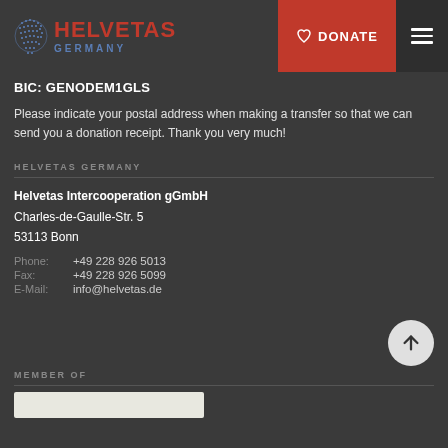[Figure (logo): Helvetas Germany logo with globe icon, red HELVETAS text, blue GERMANY text]
BIC: GENODEM1GLS
Please indicate your postal address when making a transfer so that we can send you a donation receipt. Thank you very much!
HELVETAS GERMANY
Helvetas Intercooperation gGmbH
Charles-de-Gaulle-Str. 5
53113 Bonn
Phone:	+49 228 926 5013
Fax:	+49 228 926 5099
E-Mail:	info@helvetas.de
MEMBER OF